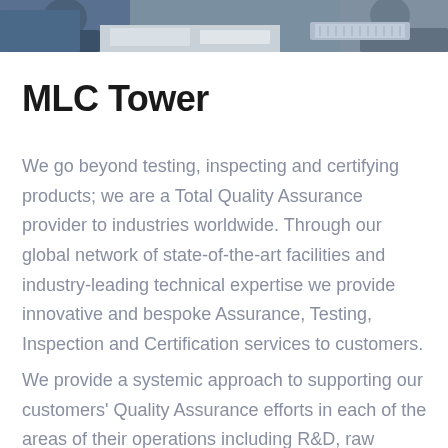[Figure (photo): A cropped photo showing people at a meeting or office setting, partially visible at the top of the page.]
MLC Tower
We go beyond testing, inspecting and certifying products; we are a Total Quality Assurance provider to industries worldwide. Through our global network of state-of-the-art facilities and industry-leading technical expertise we provide innovative and bespoke Assurance, Testing, Inspection and Certification services to customers.
We provide a systemic approach to supporting our customers' Quality Assurance efforts in each of the areas of their operations including R&D, raw